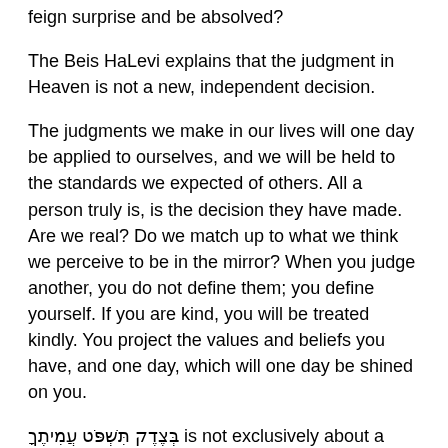feign surprise and be absolved?
The Beis HaLevi explains that the judgment in Heaven is not a new, independent decision.
The judgments we make in our lives will one day be applied to ourselves, and we will be held to the standards we expected of others. All a person truly is, is the decision they have made. Are we real? Do we match up to what we think we perceive to be in the mirror? When you judge another, you do not define them; you define yourself. If you are kind, you will be treated kindly. You project the values and beliefs you have, and one day, which will one day be shined on you.
בְּצֶדֶק תִּשְׁפֹּט עֲמִיתֶךָ is not exclusively about a court system. It is a way of life; a mentality. It is the way to create a community of fair, decent, and good people. Don't treat people well based on their respective merit, or otherwise. Treat people well purely because